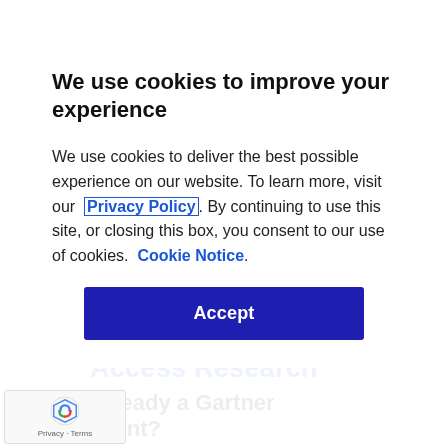Analysis
We use cookies to improve your experience
We use cookies to deliver the best possible experience on our website. To learn more, visit our  Privacy Policy . By continuing to use this site, or closing this box, you consent to our use of cookies.  Cookie Notice .
Accept
Access Research
Already a Gartner client?